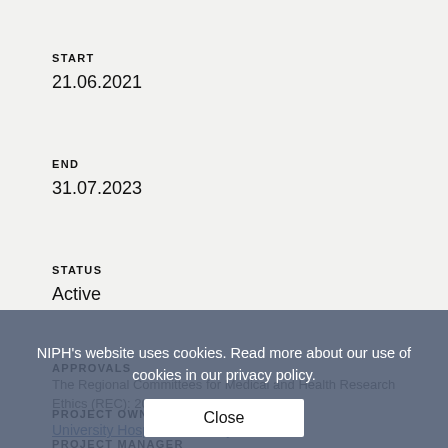START
21.06.2021
END
31.07.2023
STATUS
Active
APPROVALS
The Regional Committees for Medical and Health Research Ethics (REC): 2019/REC South East A
PROJECT OWNER/MANAGER
University Hospital of Norway
PROJECT MANAGER
NIPH's website uses cookies. Read more about our use of cookies in our privacy policy.
Close